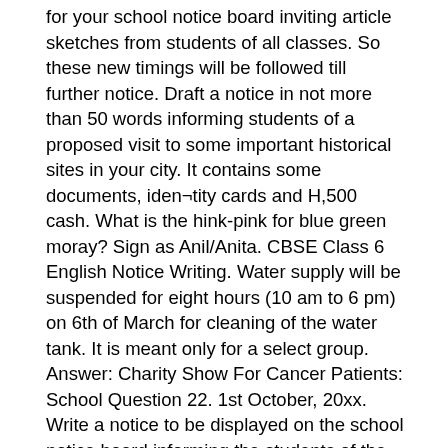for your school notice board inviting article sketches from students of all classes. So these new timings will be followed till further notice. Draft a notice in not more than 50 words informing students of a proposed visit to some important historical sites in your city. It contains some documents, iden¬tity cards and H,500 cash. What is the hink-pink for blue green moray? Sign as Anil/Anita. CBSE Class 6 English Notice Writing. Water supply will be suspended for eight hours (10 am to 6 pm) on 6th of March for cleaning of the water tank. It is meant only for a select group. Answer: Charity Show For Cancer Patients: School Question 22. 1st October, 20xx. Write a notice to be displayed on the school notice board informing the students of the show and asking them to cooperate and make it a success. Writing an apology letter when you've lost something shows you've respect for the individual […] Answer: Flower Show Invitation: You are Amar/Amrita, Secretary, Cultural Club, Aryamba Public School, Kochi. Write a notice to be displayed on the school notice board informing the students of the competition and inviting them to participate. Read these notice writing topics and get answer to how to write a notice. Question 6. (All India 2012) Residents are hereby requested to ensure an overwhelming response to this camp by even persuading their friends and relatives to come forward for this noble task. Notice Writing Examples Class 12